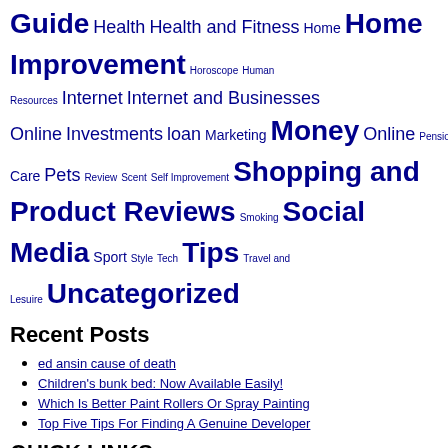Guide Health Health and Fitness Home Home Improvement Horoscope Human Resources Internet Internet and Businesses Online Investments loan Marketing Money Online Pension Perfume Pet Care Pets Review Scent Self Improvement Shopping and Product Reviews Smoking Social Media Sport Style Tech Tips Travel and Lesuire Uncategorized
Recent Posts
ed ansin cause of death
Children's bunk bed: Now Available Easily!
Which Is Better Paint Rollers Or Spray Painting
Top Five Tips For Finding A Genuine Developer
QUICK LINKS
Contact
Found a typo? Please let us know!
Home
Privacy Policy
Security